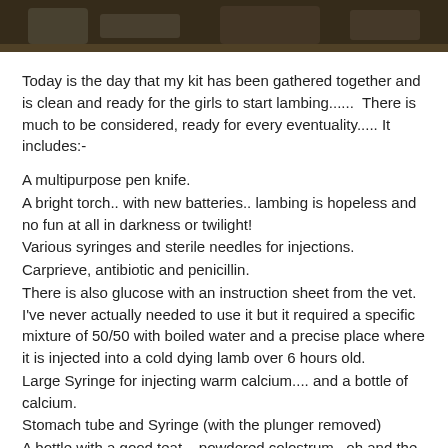[Figure (photo): Dark photograph showing lambing-related scene, appearing as a dark banner at the top of the page.]
Today is the day that my kit has been gathered together and is clean and ready for the girls to start lambing......  There is much to be considered, ready for every eventuality..... It includes:-
A multipurpose pen knife.
A bright torch.. with new batteries.. lambing is hopeless and no fun at all in darkness or twilight!
Various syringes and sterile needles for injections.
Carprieve, antibiotic and penicillin.
There is also glucose with an instruction sheet from the vet. I've never actually needed to use it but it required a specific mixture of 50/50 with boiled water and a precise place where it is injected into a cold dying lamb over 6 hours old.
Large Syringe for injecting warm calcium.... and a bottle of calcium.
Stomach tube and Syringe (with the plunger removed)
A bottle with a good teat... powdered colostrum.. oh and the last sack of ewe milk powder in the district!
Iodine to clean little umbilical cords.